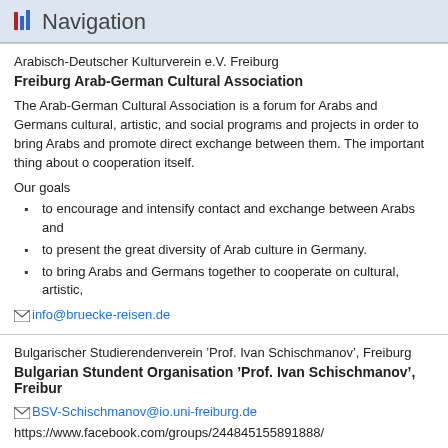Navigation
Arabisch-Deutscher Kulturverein e.V. Freiburg
Freiburg Arab-German Cultural Association
The Arab-German Cultural Association is a forum for Arabs and Germans cultural, artistic, and social programs and projects in order to bring Arabs and promote direct exchange between them. The important thing about o cooperation itself.
Our goals
to encourage and intensify contact and exchange between Arabs and
to present the great diversity of Arab culture in Germany.
to bring Arabs and Germans together to cooperate on cultural, artistic,
info@bruecke-reisen.de
Bulgarischer Studierendenverein ’Prof. Ivan Schischmanov’, Freiburg
Bulgarian Stundent Organisation ’Prof. Ivan Schischmanov’, Freibur
BSV-Schischmanov@io.uni-freiburg.de
https://www.facebook.com/groups/244845155891888/